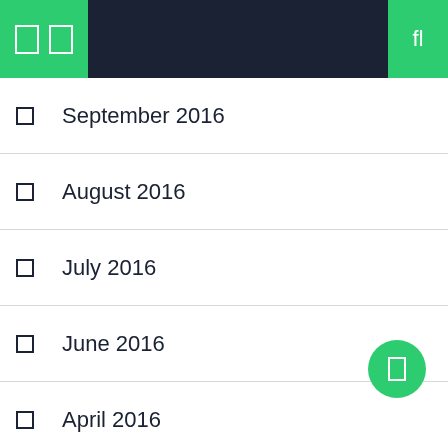Navigation bar with icons
September 2016
August 2016
July 2016
June 2016
April 2016
September 2015
August 2015
July 2015
June 2015
February 2015